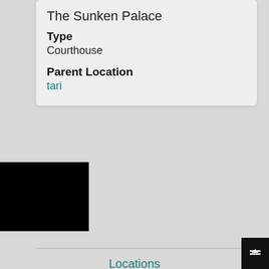The Sunken Palace
Type
Courthouse
Parent Location
tari
Locations
[Figure (infographic): Social media icons: Twitter, Reddit, Twitch, Instagram — all in teal color]
All graphics, art and illustrations featured on the Sea of Starlight are made by Tim de Roos (Bonus Action) unless stated otherwise.